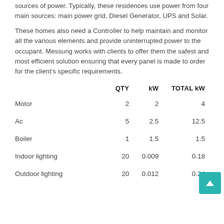sources of power. Typically, these residences use power from four main sources: main power grid, Diesel Generator, UPS and Solar.
These homes also need a Controller to help maintain and monitor all the various elements and provide uninterrupted power to the occupant. Messung works with clients to offer them the safest and most efficient solution ensuring that every panel is made to order for the client's specific requirements.
|  | QTY | kW | TOTAL kW |
| --- | --- | --- | --- |
| Motor | 2 | 2 | 4 |
| Ac | 5 | 2.5 | 12.5 |
| Boiler | 1 | 1.5 | 1.5 |
| Indoor lighting | 20 | 0.009 | 0.18 |
| Outdoor lighting | 20 | 0.012 | 0.24 |